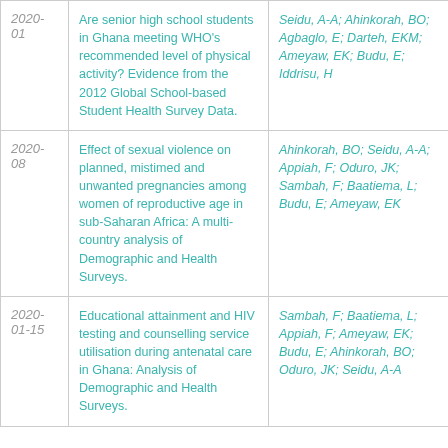| Date | Title | Authors |
| --- | --- | --- |
| 2020-01 | Are senior high school students in Ghana meeting WHO's recommended level of physical activity? Evidence from the 2012 Global School-based Student Health Survey Data. | Seidu, A-A; Ahinkorah, BO; Agbaglo, E; Darteh, EKM; Ameyaw, EK; Budu, E; Iddrisu, H |
| 2020-08 | Effect of sexual violence on planned, mistimed and unwanted pregnancies among women of reproductive age in sub-Saharan Africa: A multi-country analysis of Demographic and Health Surveys. | Ahinkorah, BO; Seidu, A-A; Appiah, F; Oduro, JK; Sambah, F; Baatiema, L; Budu, E; Ameyaw, EK |
| 2020-01-15 | Educational attainment and HIV testing and counselling service utilisation during antenatal care in Ghana: Analysis of Demographic and Health Surveys. | Sambah, F; Baatiema, L; Appiah, F; Ameyaw, EK; Budu, E; Ahinkorah, BO; Oduro, JK; Seidu, A-A |